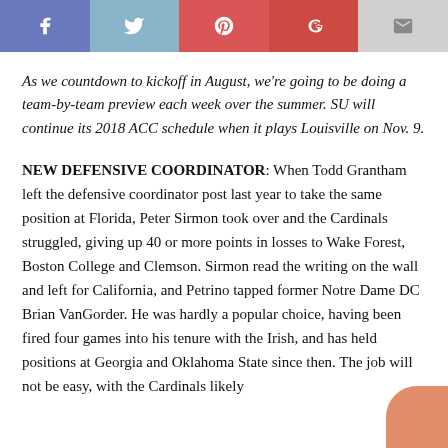[Figure (other): Social share buttons bar: Facebook (blue-purple), Twitter (light blue), Pinterest (red), Google+ (red), Email (light gray)]
As we countdown to kickoff in August, we're going to be doing a team-by-team preview each week over the summer. SU will continue its 2018 ACC schedule when it plays Louisville on Nov. 9.
NEW DEFENSIVE COORDINATOR: When Todd Grantham left the defensive coordinator post last year to take the same position at Florida, Peter Sirmon took over and the Cardinals struggled, giving up 40 or more points in losses to Wake Forest, Boston College and Clemson. Sirmon read the writing on the wall and left for California, and Petrino tapped former Notre Dame DC Brian VanGorder. He was hardly a popular choice, having been fired four games into his tenure with the Irish, and has held positions at Georgia and Oklahoma State since then. The job will not be easy, with the Cardinals likely